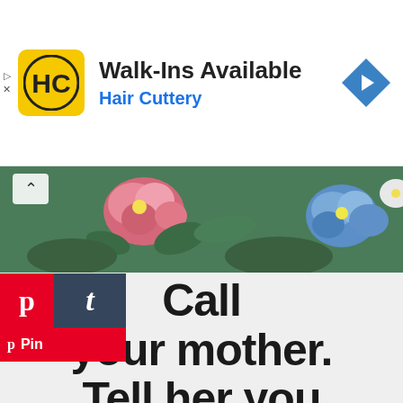[Figure (screenshot): Hair Cuttery advertisement banner with yellow logo showing 'HC', text 'Walk-Ins Available' and 'Hair Cuttery' in blue, and a blue navigation diamond icon on the right.]
[Figure (photo): Floral pattern photo strip showing colorful flowers including pink roses and blue flowers on a light background.]
[Figure (screenshot): Social sharing buttons: red Pinterest button with 'p' icon, dark blue Tumblr button with 't' icon, and red 'Pin' label below.]
[Figure (infographic): Motivational quote on light grey background in large bold black text: 'Call your mother. Tell her you love her. Remember, you're the only']